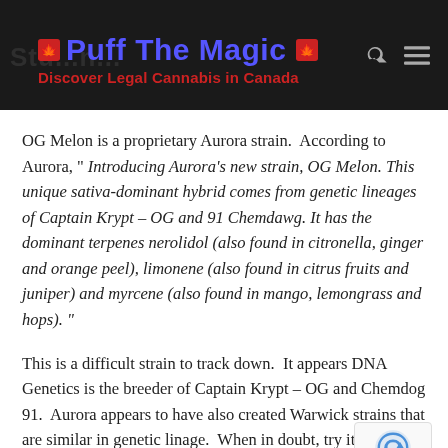Puff The Magic — Discover Legal Cannabis in Canada
OG Melon is a proprietary Aurora strain.  According to Aurora, " Introducing Aurora's new strain, OG Melon. This unique sativa-dominant hybrid comes from genetic lineages of Captain Krypt – OG and 91 Chemdawg. It has the dominant terpenes nerolidol (also found in citronella, ginger and orange peel), limonene (also found in citrus fruits and juniper) and myrcene (also found in mango, lemongrass and hops). "
This is a difficult strain to track down.  It appears DNA Genetics is the breeder of Captain Krypt – OG and Chemdog 91.  Aurora appears to have also created Warwick strains that are similar in genetic linage.  When in doubt, try it and see what happens.